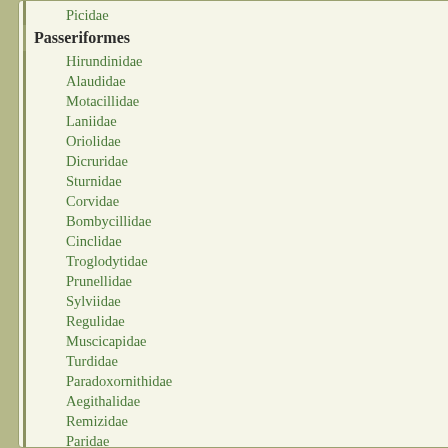Picidae
Passeriformes
Hirundinidae
Alaudidae
Motacillidae
Laniidae
Oriolidae
Dicruridae
Sturnidae
Corvidae
Bombycillidae
Cinclidae
Troglodytidae
Prunellidae
Sylviidae
Regulidae
Muscicapidae
Turdidae
Paradoxornithidae
Aegithalidae
Remizidae
Paridae
Sittidae
Certhiidae
Ploceidae
Fringillidae
Emberizidae